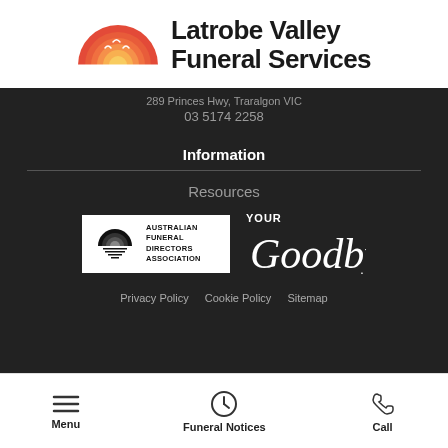[Figure (logo): Latrobe Valley Funeral Services logo with a semicircle sunset/sunrise graphic in red and orange with white birds, and bold black text reading 'Latrobe Valley Funeral Services']
289 Princes Hwy, Traralgon VIC
03 5174 2258
Information
Resources
[Figure (logo): Australian Funeral Directors Association logo (black and white) alongside 'Your Goodbye' logo in white text]
Privacy Policy   Cookie Policy   Sitemap
Menu   Funeral Notices   Call